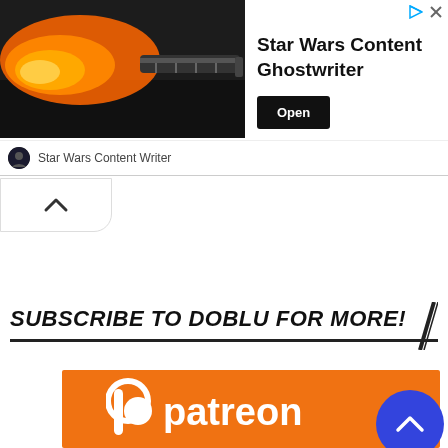[Figure (screenshot): Advertisement banner for 'Star Wars Content Ghostwriter' with a lightsaber/rocket flame image on the left, title text in center, an Open button on the right, and 'Star Wars Content Writer' branding below. Navigation/ad icons in top-right corner.]
[Figure (other): Collapse/arrow-up button at top-left below the ad banner]
SUBSCRIBE TO DOBLU FOR MORE!
[Figure (logo): Patreon logo (orange background with white Patreon wordmark and icon) inside an orange rectangular box. A blue circular scroll-to-top button overlaps the right side.]